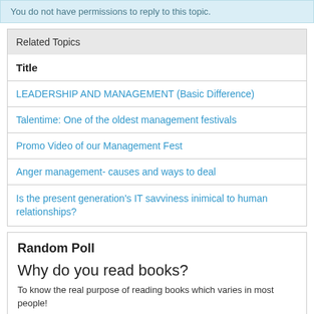You do not have permissions to reply to this topic.
Related Topics
| Title |
| --- |
| LEADERSHIP AND MANAGEMENT (Basic Difference) |
| Talentime: One of the oldest management festivals |
| Promo Video of our Management Fest |
| Anger management- causes and ways to deal |
| Is the present generation's IT savviness inimical to human relationships? |
Random Poll
Why do you read books?
To know the real purpose of reading books which varies in most people!